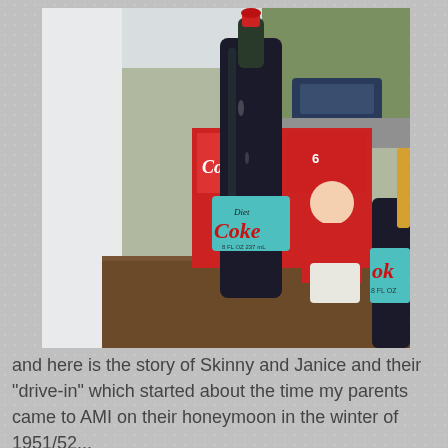[Figure (photo): A Diet Coke glass bottle in the foreground on a wooden table, with red Coca-Cola cardboard packaging in the background, a Santa Claus figure, another Coke bottle on the right, and trees and a parked car visible outside.]
and here is the story of Skinny and Janice and their "drive-in" which started about the time my parents came to AMI on their honeymoon in the winter of 1951/52...